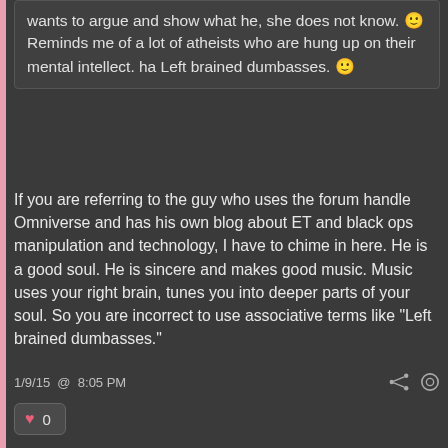wants to argue and show what he, she does not know. 🙂 Reminds me of a lot of atheists who are hung up on their mental intellect. ha Left brained dumbasses. 🙂
If you are referring to the guy who uses the forum handle Omniverse and has his own blog about ET and black ops manipulation and technology, I have to chime in here. He is a good soul. He is sincere and makes good music. Music uses your right brain, tunes you into deeper parts of your soul. So you are incorrect to use associative terms like "Left brained dumbasses."
1/9/15  @  8:05 PM